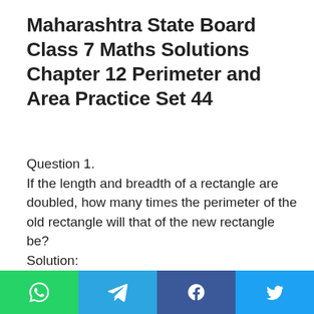Maharashtra State Board Class 7 Maths Solutions Chapter 12 Perimeter and Area Practice Set 44
Question 1.
If the length and breadth of a rectangle are doubled, how many times the perimeter of the old rectangle will that of the new rectangle be?
Solution:
Let the length of the old rectangle be l and breadth be b.
∴ Perimeter of old rectangle = 2(l + b)
[Figure (other): Four social media share buttons: WhatsApp (green), Telegram (blue), Facebook (dark blue), Twitter (light blue)]